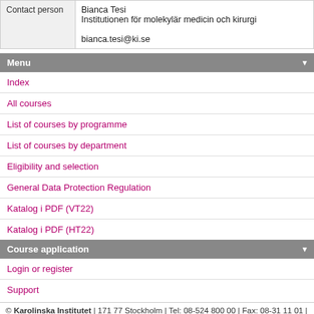| Contact person |  |
| --- | --- |
| Contact person | Bianca Tesi
Institutionen för molekylär medicin och kirurgi

bianca.tesi@ki.se |
Menu
Index
All courses
List of courses by programme
List of courses by department
Eligibility and selection
General Data Protection Regulation
Katalog i PDF (VT22)
Katalog i PDF (HT22)
Course application
Login or register
Support
© Karolinska Institutet | 171 77 Stockholm | Tel: 08-524 800 00 | Fax: 08-31 11 01 | info@ki.se
Org.nr: 202100-2973 | VAT. nr: SE202100297301